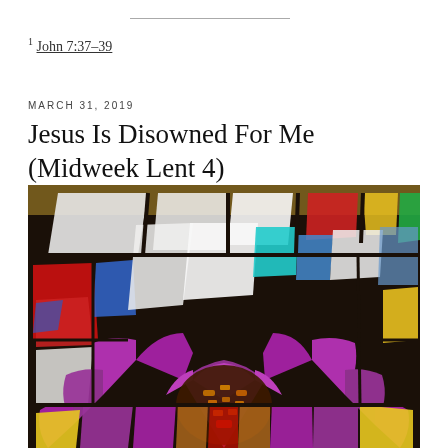1 John 7:37-39
MARCH 31, 2019
Jesus Is Disowned For Me (Midweek Lent 4)
[Figure (photo): A colorful stained glass window featuring geometric patterns including a large radiating arc of purple segments in the center, surrounded by various colored glass panes in red, blue, yellow, green, white, cyan, and orange, set against dark leading lines.]